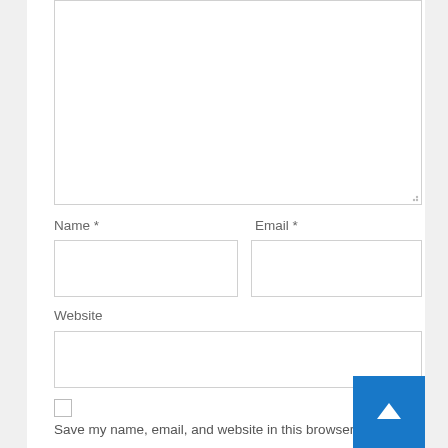[Figure (screenshot): Large textarea input box (comment field), empty, with resize handle at bottom-right corner]
Name *
Email *
[Figure (screenshot): Name text input field, empty, with border]
[Figure (screenshot): Email text input field, empty, with border]
Website
[Figure (screenshot): Website text input field, empty, with border]
[Figure (screenshot): Checkbox (unchecked)]
Save my name, email, and website in this browser